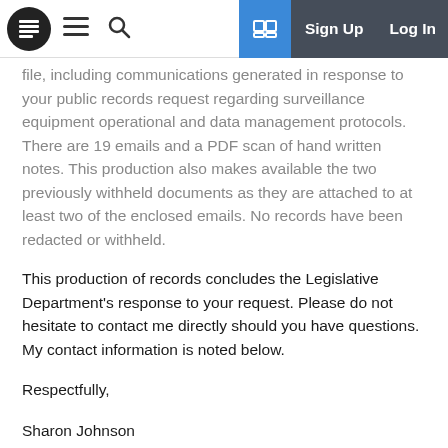Sign Up  Log In
file, including communications generated in response to your public records request regarding surveillance equipment operational and data management protocols. There are 19 emails and a PDF scan of hand written notes. This production also makes available the two previously withheld documents as they are attached to at least two of the enclosed emails. No records have been redacted or withheld.
This production of records concludes the Legislative Department's response to your request. Please do not hesitate to contact me directly should you have questions. My contact information is noted below.
Respectfully,
Sharon Johnson
Sharon Johnson, CPRO, MPS